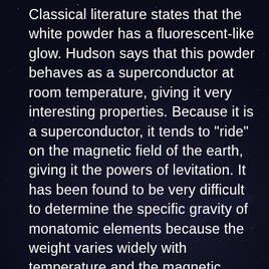Classical literature states that the white powder has a fluorescent-like glow. Hudson says that this powder behaves as a superconductor at room temperature, giving it very interesting properties. Because it is a superconductor, it tends to "ride" on the magnetic field of the earth, giving it the powers of levitation. It has been found to be very difficult to determine the specific gravity of monatomic elements because the weight varies widely with temperature and the magnetic environment. Under some circumstances, monatomic elements weigh less than zero! That is, a container full of monatomic matter could be observed to weigh less than the empty container.